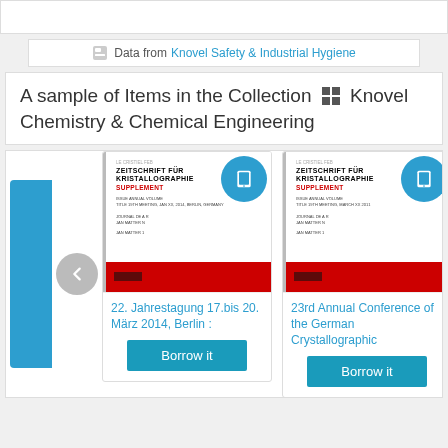Data from Knovel Safety & Industrial Hygiene
A sample of Items in the Collection Knovel Chemistry & Chemical Engineering
[Figure (screenshot): Carousel showing two book cards: '22. Jahrestagung 17.bis 20. März 2014, Berlin :' and '23rd Annual Conference of the German Crystallographic', both with 'Borrow it' buttons and tablet icons. Both show Zeitschrift für Kristallographie Supplement covers.]
22. Jahrestagung 17.bis 20. März 2014, Berlin :
23rd Annual Conference of the German Crystallographic